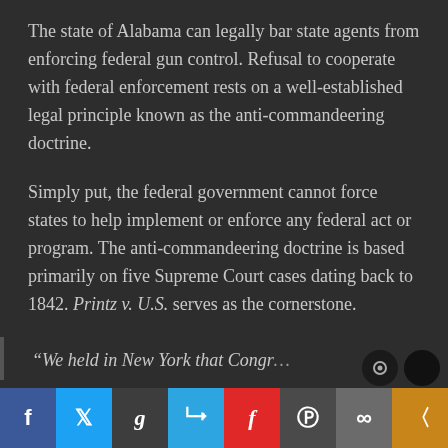The state of Alabama can legally bar state agents from enforcing federal gun control. Refusal to cooperate with federal enforcement rests on a well-established legal principle known as the anti-commandeering doctrine.
Simply put, the federal government cannot force states to help implement or enforce any federal act or program. The anti-commandeering doctrine is based primarily on five Supreme Court cases dating back to 1842. Printz v. U.S. serves as the cornerstone.
“We held in New York that Congr…